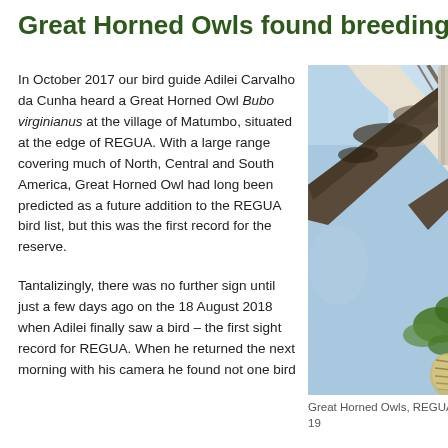Great Horned Owls found breeding at RE
In October 2017 our bird guide Adilei Carvalho da Cunha heard a Great Horned Owl Bubo virginianus at the village of Matumbo, situated at the edge of REGUA. With a large range covering much of North, Central and South America, Great Horned Owl had long been predicted as a future addition to the REGUA bird list, but this was the first record for the reserve.
Tantalizingly, there was no further sign until just a few days ago on the 18 August 2018 when Adilei finally saw a bird – the first sight record for REGUA. When he returned the next morning with his camera he found not one bird
[Figure (photo): Photograph of tree branches against a blue sky, with what appears to be an owl visible among the branches at REGUA]
Great Horned Owls, REGUA, 19